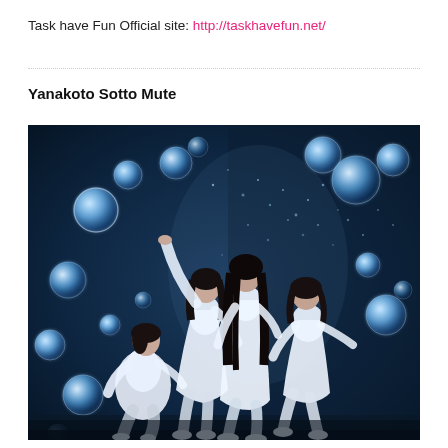Task have Fun Official site: http://taskhavefun.net/
Yanakoto Sotto Mute
[Figure (photo): Four young women dressed in white flowing outfits posed dynamically against a dark blue underwater-style background with floating translucent blue spheres/bubbles. The image has an ethereal, artistic quality with water/particle effects.]